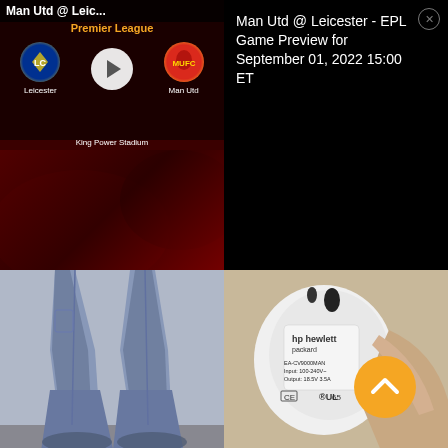[Figure (screenshot): Video preview thumbnail of Premier League match: Man Utd @ Leicester. Shows Leicester and Man Utd team logos flanking a play button, with 'Premier League' banner and 'King Power Stadium' text below.]
Man Utd @ Leic...
Premier League
Leicester
Man Utd
King Power Stadium
Man Utd @ Leicester - EPL Game Preview for September 01, 2022 15:00 ET
[Figure (photo): Photo of a person wearing flared/wide-leg blue jeans, wet at the bottom, standing on a wet surface. Only legs visible.]
[Figure (photo): Close-up photo of a white HP electronic device/charger showing regulatory labels including UL, CE markings and compliance text.]
[Figure (other): Orange circular scroll-to-top button with white upward chevron arrow.]